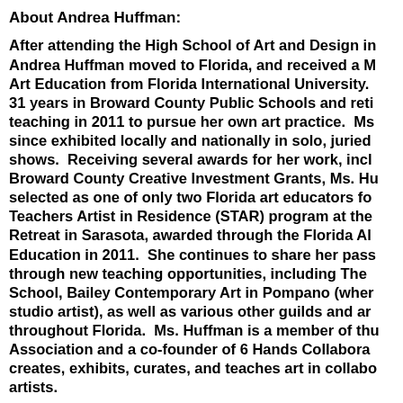About Andrea Huffman:
After attending the High School of Art and Design in Andrea Huffman moved to Florida, and received a M Art Education from Florida International University. 31 years in Broward County Public Schools and reti teaching in 2011 to pursue her own art practice. Ms since exhibited locally and nationally in solo, juried shows. Receiving several awards for her work, incl Broward County Creative Investment Grants, Ms. Hu selected as one of only two Florida art educators fo Teachers Artist in Residence (STAR) program at the Retreat in Sarasota, awarded through the Florida Al Education in 2011. She continues to share her pass through new teaching opportunities, including The School, Bailey Contemporary Art in Pompano (wher studio artist), as well as various other guilds and ar throughout Florida. Ms. Huffman is a member of thu Association and a co-founder of 6 Hands Collabora creates, exhibits, curates, and teaches art in collabo artists.